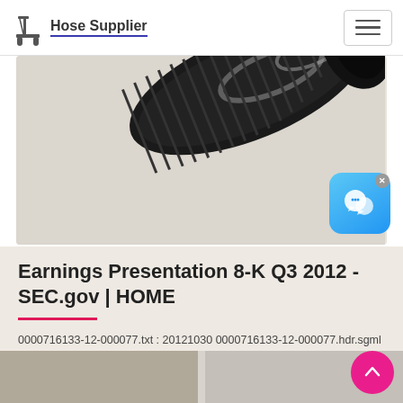Hose Supplier
[Figure (photo): Close-up photo of a large black industrial ribbed hose/pipe diagonal against a light background]
Earnings Presentation 8-K Q3 2012 - SEC.gov | HOME
0000716133-12-000077.txt : 20121030 0000716133-12-000077.hdr.sgml : 20121030 20121030075926 accession nuer: 0000716133-12-000077 conformed submission type...
[Figure (photo): Partial bottom strip showing another product image]